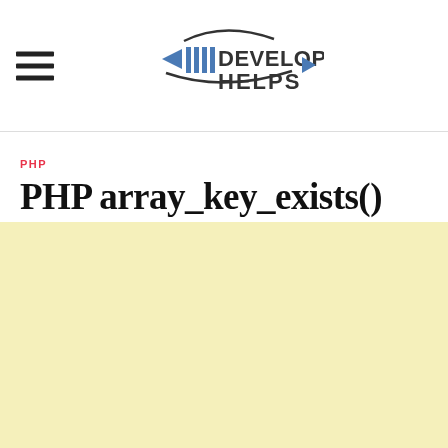DEVELOPER HELPS
PHP
PHP array_key_exists() Function
[Figure (other): Yellow advertisement block placeholder]